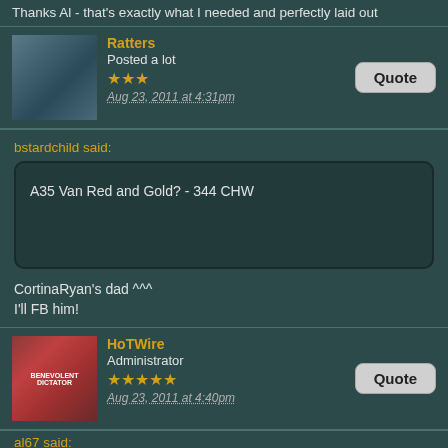Thanks Al - that's exactly what I needed and perfectly laid out
Ratters
Posted a lot
★★★
Aug 23, 2011 at 4:31pm
bstardchild said:
A35 Van Red and Gold? - 344 CHW
CortinaRyan's dad ^^^
I'll FB him!
HoTWire
Administrator
★★★★★
Aug 23, 2011 at 4:40pm
al67 said: